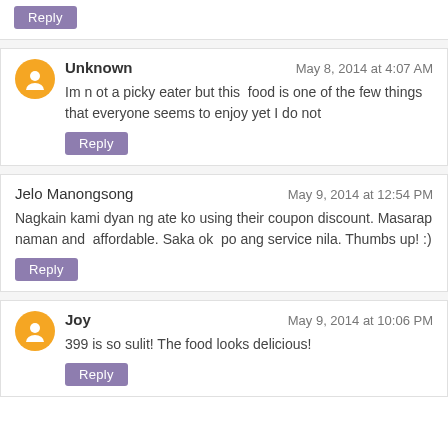Reply
Unknown — May 8, 2014 at 4:07 AM
Im n ot a picky eater but this food is one of the few things that everyone seems to enjoy yet I do not
Reply
Jelo Manongsong — May 9, 2014 at 12:54 PM
Nagkain kami dyan ng ate ko using their coupon discount. Masarap naman and affordable. Saka ok po ang service nila. Thumbs up! :)
Reply
Joy — May 9, 2014 at 10:06 PM
399 is so sulit! The food looks delicious!
Reply